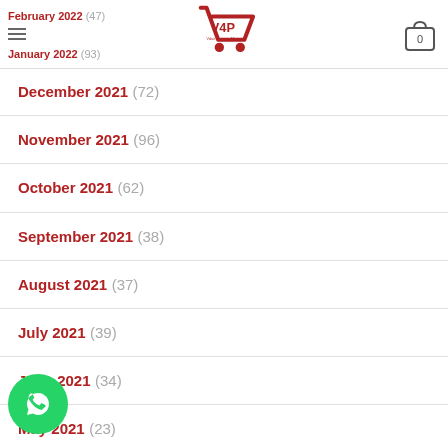February 2022 (47) | January 2022 (93) | V4P Logo | Cart 0
December 2021 (72)
November 2021 (96)
October 2021 (62)
September 2021 (38)
August 2021 (37)
July 2021 (39)
June 2021 (34)
May 2021 (23)
April 2021 (9)
March 2021 (3)